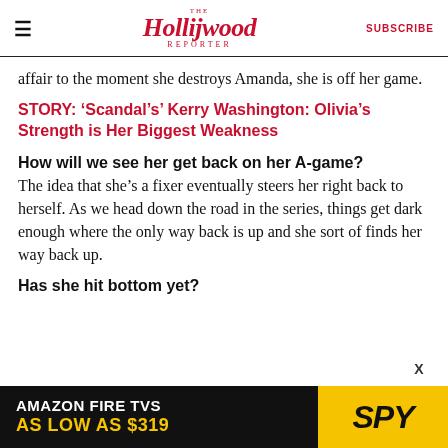The Hollywood Reporter | SUBSCRIBE
affair to the moment she destroys Amanda, she is off her game.
STORY: ‘Scandal’s’ Kerry Washington: Olivia’s Strength is Her Biggest Weakness
How will we see her get back on her A-game? The idea that she’s a fixer eventually steers her right back to herself. As we head down the road in the series, things get dark enough where the only way back is up and she sort of finds her way back up.
Has she hit bottom yet?
[Figure (other): Amazon Fire TVs advertisement banner: 'AMAZON FIRE TVS AS LOW AS $319' with SPY logo on yellow background]